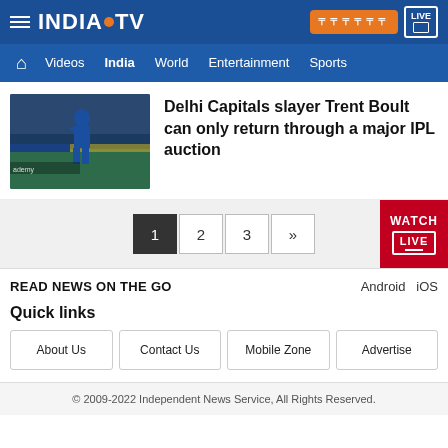INDIA TV — top navigation bar with hamburger menu, Hindi button, LIVE button, and navigation links: Videos, India, World, Entertainment, Sports
[Figure (photo): Cricket player in blue kit on a stadium field]
Delhi Capitals slayer Trent Boult can only return through a major IPL auction
Pagination: 1 2 3 »
READ NEWS ON THE GO    Android   iOS
Quick links
About Us
Contact Us
Mobile Zone
Advertise
© 2009-2022 Independent News Service, All Rights Reserved.